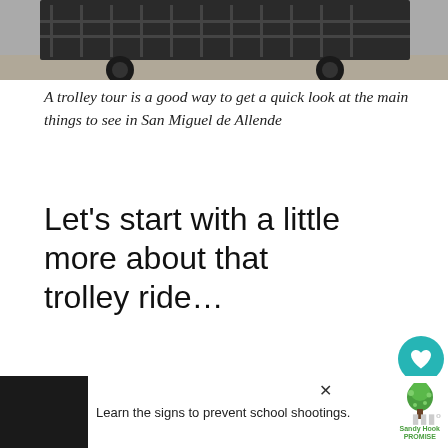[Figure (photo): Partial view of a trolley vehicle — bottom portion showing dark metal frame, wheels, and cobblestone/pavement surface]
A trolley tour is a good way to get a quick look at the main things to see in San Miguel de Allende
Let's start with a little more about that trolley ride…
[Figure (screenshot): Social share widget with teal heart button showing 1.6K likes, and a white share button with share icon]
[Figure (infographic): WHAT'S NEXT widget showing thumbnail of a building and text 'The 15 Most Beautiful...']
[Figure (screenshot): Advertisement banner: 'Learn the signs to prevent school shootings.' with Sandy Hook Promise logo and tree graphic]